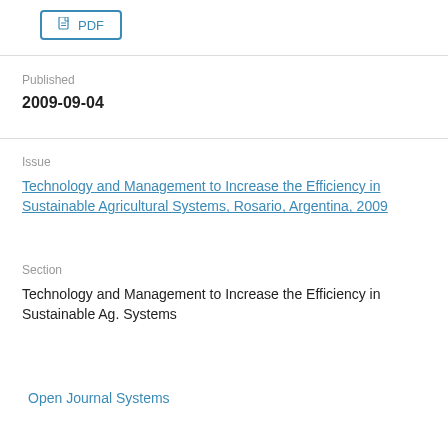[Figure (other): PDF download button with file icon and 'PDF' label, styled with a blue border]
Published
2009-09-04
Issue
Technology and Management to Increase the Efficiency in Sustainable Agricultural Systems, Rosario, Argentina, 2009
Section
Technology and Management to Increase the Efficiency in Sustainable Ag. Systems
Open Journal Systems